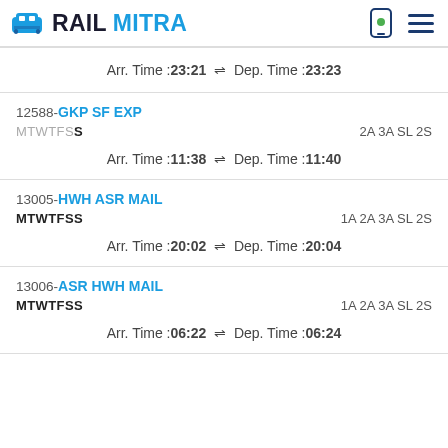RAILMITRA
Arr. Time :23:21  Dep. Time :23:23
12588-GKP SF EXP MTWTFSS  2A 3A SL 2S  Arr. Time :11:38  Dep. Time :11:40
13005-HWH ASR MAIL MTWTFSS  1A 2A 3A SL 2S  Arr. Time :20:02  Dep. Time :20:04
13006-ASR HWH MAIL MTWTFSS  1A 2A 3A SL 2S  Arr. Time :06:22  Dep. Time :06:24